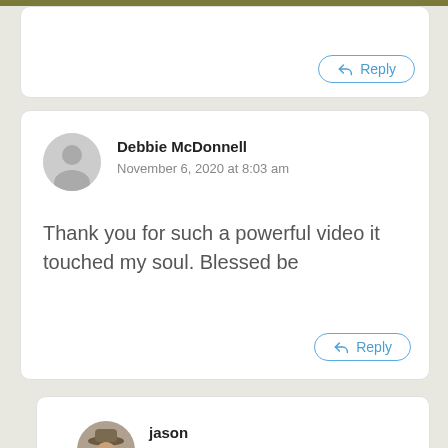Reply (top partial card)
Debbie McDonnell
November 6, 2020 at 8:03 am

Thank you for such a powerful video it touched my soul. Blessed be
Reply
jason
November 6, 2020 at 10:43 am